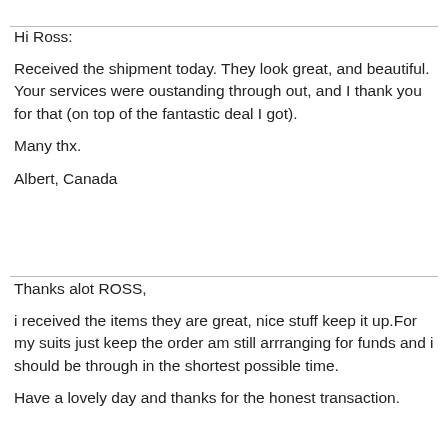Hi Ross:
Received the shipment today. They look great, and beautiful. Your services were oustanding through out, and I thank you for that (on top of the fantastic deal I got).
Many thx.
Albert, Canada
Thanks alot ROSS,
i received the items they are great, nice stuff keep it up.For my suits just keep the order am still arrranging for funds and i should be through in the shortest possible time.
Have a lovely day and thanks for the honest transaction.